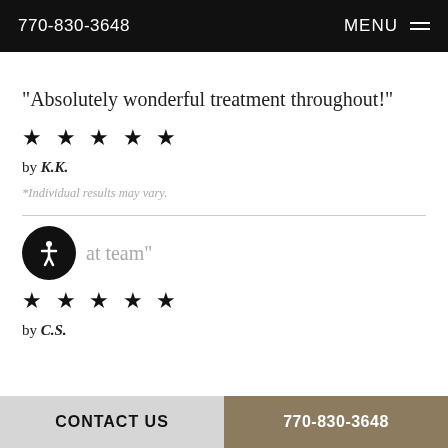770-830-3648   MENU
“Absolutely wonderful treatment throughout!”
★ ★ ★ ★ ★
by K.K.
*Individual results may vary.
“at team”
★ ★ ★ ★ ★
by C.S.
CONTACT US   770-830-3648